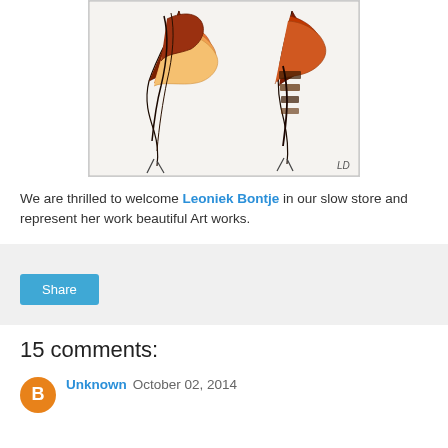[Figure (illustration): Artwork showing abstract bird/feather figures in brown, red, orange and black ink on white background, with a small monogram signature in the bottom right corner.]
We are thrilled to welcome Leoniek Bontje in our slow store and represent her work beautiful Art works.
Share
15 comments:
Unknown  October 02, 2014